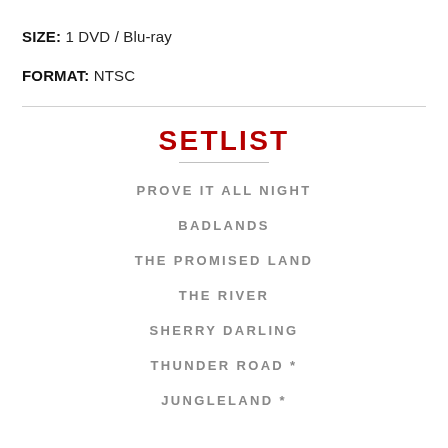SIZE: 1 DVD / Blu-ray
FORMAT: NTSC
SETLIST
PROVE IT ALL NIGHT
BADLANDS
THE PROMISED LAND
THE RIVER
SHERRY DARLING
THUNDER ROAD *
JUNGLELAND *